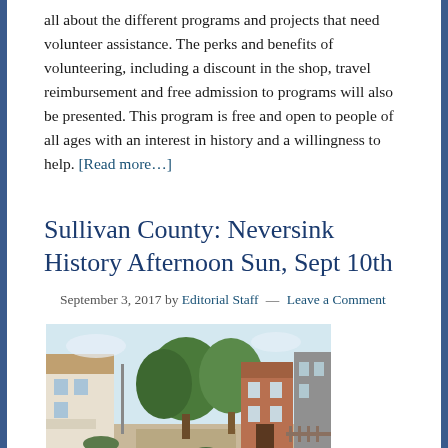all about the different programs and projects that need volunteer assistance. The perks and benefits of volunteering, including a discount in the shop, travel reimbursement and free admission to programs will also be presented. This program is free and open to people of all ages with an interest in history and a willingness to help. [Read more…]
Sullivan County: Neversink History Afternoon Sun, Sept 10th
September 3, 2017 by Editorial Staff — Leave a Comment
[Figure (photo): Vintage postcard-style illustration of a small village street scene with trees, houses, and brick buildings under a light blue sky.]